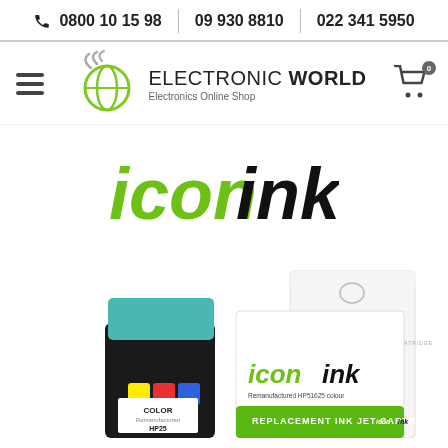0800 10 15 98 | 09 930 8810 | 022 341 5950
[Figure (logo): Electronic World Electronics Online Shop logo with green globe icon, hamburger menu, and shopping cart with badge 0]
[Figure (logo): iconink logo in green and black text]
[Figure (photo): Product photo of HP25 colour ink cartridge with iconink branded replacement packaging boxes]